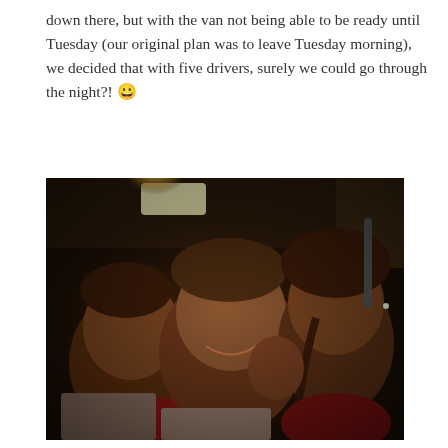down there, but with the van not being able to be ready until Tuesday (our original plan was to leave Tuesday morning), we decided that with five drivers, surely we could go through the night?! 😀
[Figure (photo): A dark interior photo taken inside a van at night showing three young people (children/teenagers) smiling at the camera in a selfie-style shot. A bright overhead light illuminates the top of the van. The subjects are lit warmly against a dark background.]